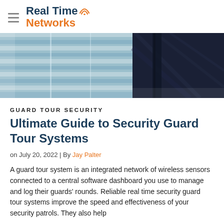Real Time Networks
[Figure (photo): A security guard in dark uniform standing in a building with glass windows/blinds visible in the background. Split image: left side shows glass blinds/window reflections in blue tones, right side shows dark navy uniform fabric closeup.]
GUARD TOUR SECURITY
Ultimate Guide to Security Guard Tour Systems
on July 20, 2022 | By Jay Palter
A guard tour system is an integrated network of wireless sensors connected to a central software dashboard you use to manage and log their guards' rounds. Reliable real time security guard tour systems improve the speed and effectiveness of your security patrols. They also help